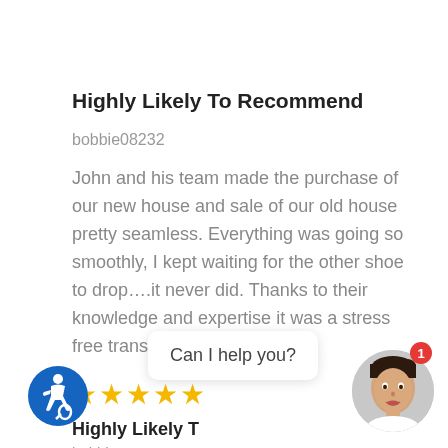Highly Likely To Recommend
bobbie08232
John and his team made the purchase of our new house and sale of our old house pretty seamless. Everything was going so smoothly, I kept waiting for the other shoe to drop….it never did. Thanks to their knowledge and expertise it was a stress free transition!
[Figure (other): Five gold star rating icons]
Highly Likely To Recommend
bobbie08232
[Figure (other): Accessibility wheelchair icon in blue circle]
[Figure (other): Chat bubble with text 'Can I help you?']
[Figure (photo): Customer service agent avatar photo in circular frame with red notification badge showing 1]